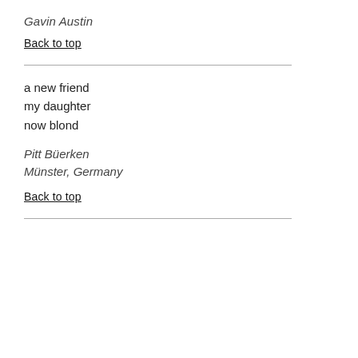Gavin Austin
Back to top
a new friend
my daughter
now blond
Pitt Büerken
Münster, Germany
Back to top